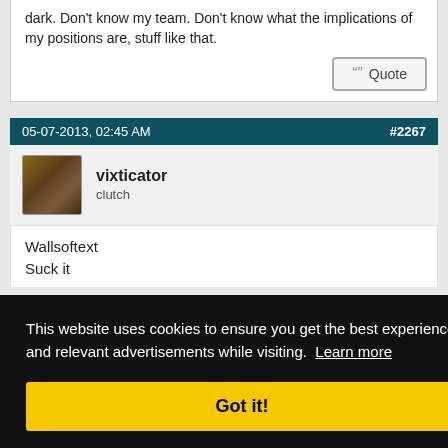dark. Don't know my team. Don't know what the implications of my positions are, stuff like that.
Quote
05-07-2013, 02:45 AM  #2267
vixticator
clutch
Wallsoftext
Suck it
This website uses cookies to ensure you get the best experience and relevant advertisements while visiting.  Learn more
Got it!
#2268
Night in 14:00:44